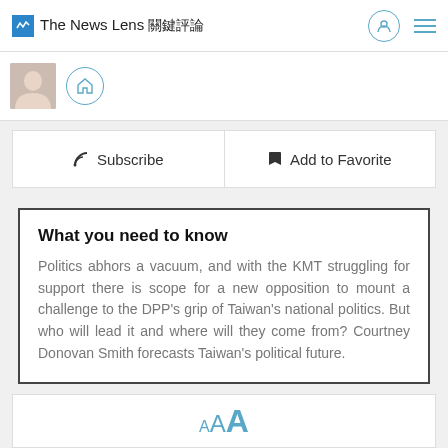The News Lens 關鍵評論
[Figure (screenshot): Profile photo thumbnail and home icon circle button]
Subscribe | Add to Favorite
What you need to know
Politics abhors a vacuum, and with the KMT struggling for support there is scope for a new opposition to mount a challenge to the DPP's grip of Taiwan's national politics. But who will lead it and where will they come from? Courtney Donovan Smith forecasts Taiwan's political future.
A AA A (font size selector)